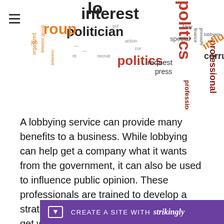[Figure (infographic): Word cloud with political/lobbying terms including: interest, politician, politics, professional, corrupt, influence, law, press, request, lobbyies, organized group, job, special, finance, pressure, recruit]
A lobbying service can provide many benefits to a business. While lobbying can help get a company what it wants from the government, it can also be used to influence public opinion. These professionals are trained to develop a strategy and can win over politicians to get what they want. A good lobbyist will know how to get your message across and will work to make you look like a hero in public. These prof and loca
CREATE A SITE WITH strikingly